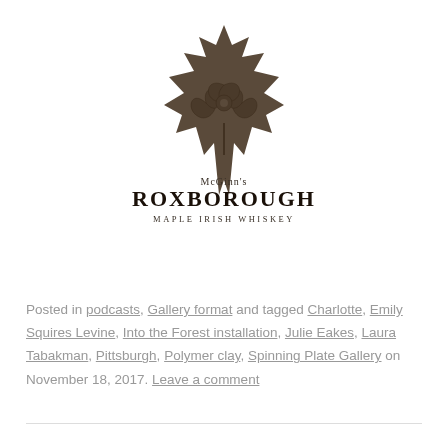[Figure (logo): McGinn's Roxborough Maple Irish Whiskey logo: a dark brown maple leaf with a Celtic shamrock design in the center, with brand name text below]
Posted in podcasts, Gallery format and tagged Charlotte, Emily Squires Levine, Into the Forest installation, Julie Eakes, Laura Tabakman, Pittsburgh, Polymer clay, Spinning Plate Gallery on November 18, 2017. Leave a comment